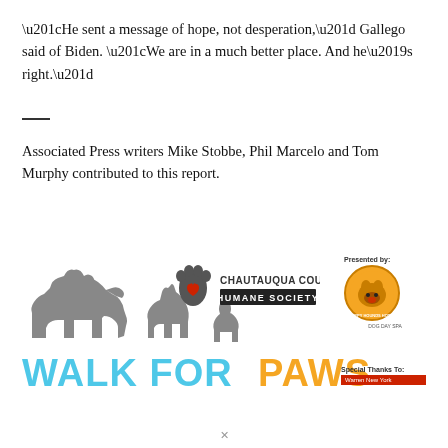“He sent a message of hope, not desperation,” Gallego said of Biden. “We are in a much better place. And he’s right.”
Associated Press writers Mike Stobbe, Phil Marcelo and Tom Murphy contributed to this report.
[Figure (logo): Walk for Paws advertisement featuring Chautauqua County Humane Society logo, animal silhouettes (dog, cat, rabbit), and text 'WALK FOR PAWS' in teal and orange. Presented by Happy Hounds Hotel. Special Thanks To: Warren New York.]